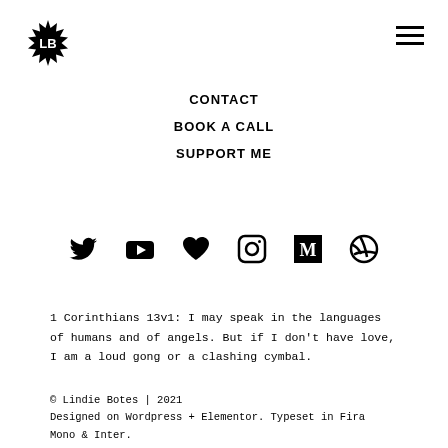[Figure (logo): LB logo in a spiky/sunburst badge shape]
[Figure (other): Hamburger menu icon (three horizontal lines)]
CONTACT
BOOK A CALL
SUPPORT ME
[Figure (infographic): Row of social media icons: Twitter, YouTube, heart/love, Instagram, Medium, Dribbble]
1 Corinthians 13v1: I may speak in the languages of humans and of angels. But if I don't have love, I am a loud gong or a clashing cymbal.
© Lindie Botes | 2021
Designed on Wordpress + Elementor. Typeset in Fira Mono & Inter.